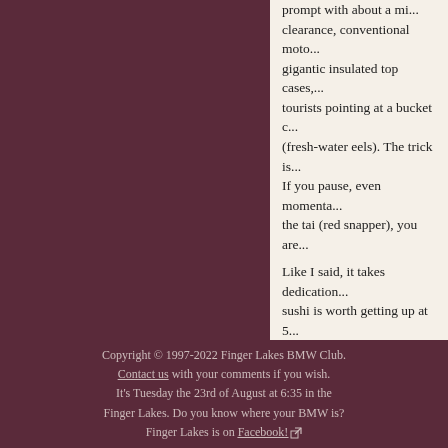prompt with about a mi... clearance, conventional moto... gigantic insulated top cases,... tourists pointing at a bucket c... (fresh-water eels). The trick is... If you pause, even momenta... the tai (red snapper), you are...
Like I said, it takes dedication... sushi is worth getting up at 5...
— Copyright © 200...
Choose Another Column
Top of page
Copyright © 1997-2022 Finger Lakes BMW Club. Contact us with your comments if you wish. It's Tuesday the 23rd of August at 6:35 in the Finger Lakes. Do you know where your BMW is? Finger Lakes is on Facebook!